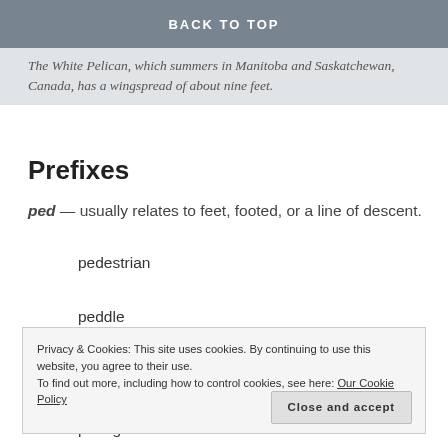BACK TO TOP
The White Pelican, which summers in Manitoba and Saskatchewan, Canada, has a wingspread of about nine feet.
Prefixes
ped — usually relates to feet, footed, or a line of descent.
pedestrian
peddle
post-glacial
Privacy & Cookies: This site uses cookies. By continuing to use this website, you agree to their use.
To find out more, including how to control cookies, see here: Our Cookie Policy